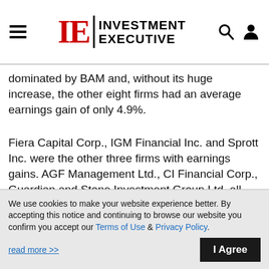IE Investment Executive
dominated by BAM and, without its huge increase, the other eight firms had an average earnings gain of only 4.9%.
Fiera Capital Corp., IGM Financial Inc. and Sprott Inc. were the other three firms with earnings gains. AGF Management Ltd., CI Financial Corp., Guardian and Stone Investment Group Ltd. all had declines and RF was in a loss position.
We use cookies to make your website experience better. By accepting this notice and continuing to browse our website you confirm you accept our Terms of Use & Privacy Policy.
read more >>
I Agree